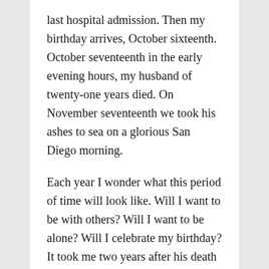last hospital admission. Then my birthday arrives, October sixteenth. October seventeenth in the early evening hours, my husband of twenty-one years died. On November seventeenth we took his ashes to sea on a glorious San Diego morning.
Each year I wonder what this period of time will look like. Will I want to be with others? Will I want to be alone? Will I celebrate my birthday? It took me two years after his death to celebrate my sixtieth birthday.